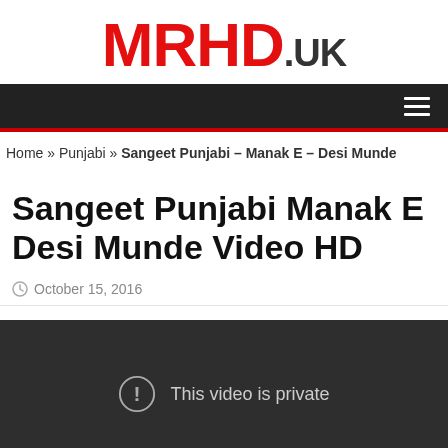MRHD.UK
Home » Punjabi » Sangeet Punjabi – Manak E – Desi Munde
Sangeet Punjabi Manak E Desi Munde Video HD
October 15, 2016
[Figure (screenshot): Embedded video player showing 'This video is private' message with a warning icon on a dark grey background.]